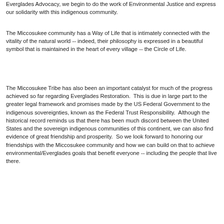Everglades Advocacy, we begin to do the work of Environmental Justice and express our solidarity with this indigenous community.
The Miccosukee community has a Way of Life that is intimately connected with the vitality of the natural world -- indeed, their philosophy is expressed in a beautiful symbol that is maintained in the heart of every village -- the Circle of Life.
The Miccosukee Tribe has also been an important catalyst for much of the progress achieved so far regarding Everglades Restoration.  This is due in large part to the greater legal framework and promises made by the US Federal Government to the indigenous sovereignties, known as the Federal Trust Responsibility.  Although the historical record reminds us that there has been much discord between the United States and the sovereign indigenous communities of this continent, we can also find evidence of great friendship and prosperity.  So we look forward to honoring our friendships with the Miccosukee community and how we can build on that to achieve environmental/Everglades goals that benefit everyone -- including the people that live there.